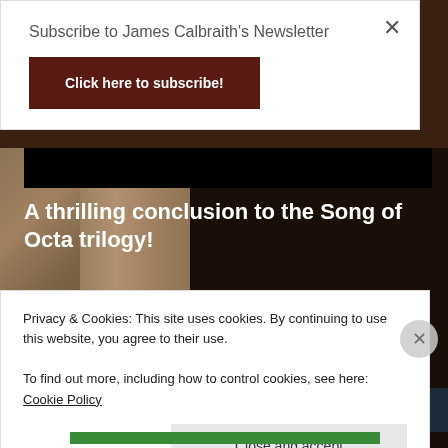Subscribe to James Calbraith's Newsletter
Click here to subscribe!
[Figure (screenshot): Hero background with rope texture, wood texture, and dark background. Black top bar, white title text: 'A thrilling conclusion to the Song of Octa trilogy!']
Get started for free
Privacy & Cookies: This site uses cookies. By continuing to use this website, you agree to their use.
To find out more, including how to control cookies, see here: Cookie Policy
Close and accept